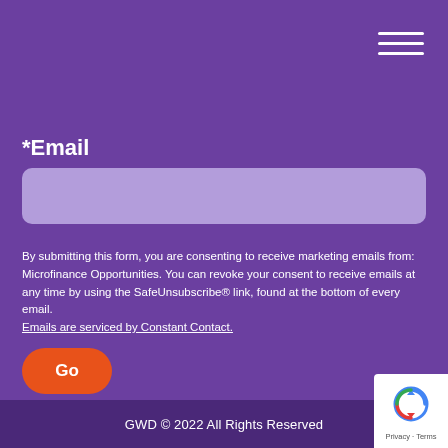[Figure (other): Hamburger menu icon — three white horizontal lines in top-right corner]
*Email
[Figure (other): Email input text field with light purple/lavender background]
By submitting this form, you are consenting to receive marketing emails from: Microfinance Opportunities. You can revoke your consent to receive emails at any time by using the SafeUnsubscribe® link, found at the bottom of every email. Emails are serviced by Constant Contact.
[Figure (other): Orange rounded 'Go' button]
GWD © 2022 All Rights Reserved
[Figure (logo): Google reCAPTCHA badge with arrow logo, Privacy and Terms links]